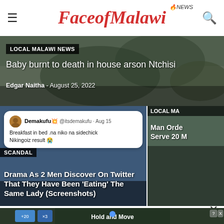[Figure (logo): FaceofMalawi News website header logo with hamburger menu and search icon]
[Figure (photo): News article hero image showing landscape/rocky scene with overlay text about baby burnt in house arson Ntchisi]
LOCAL MALAWI NEWS
Baby burnt to death in house arson Ntchisi
Edgar Naitha - August 25, 2022
[Figure (screenshot): Twitter/social media screenshot overlay showing Demakufu tweet about sidechick]
SCANDAL
Drama As 2 Men Discover On Twitter That They Have Been 'Eating' The Same Lady (Screenshots)
LOCAL MA
Man Orde Serve 20 M
[Figure (screenshot): Advertisement banner at bottom showing Hold and Move app with game interface]